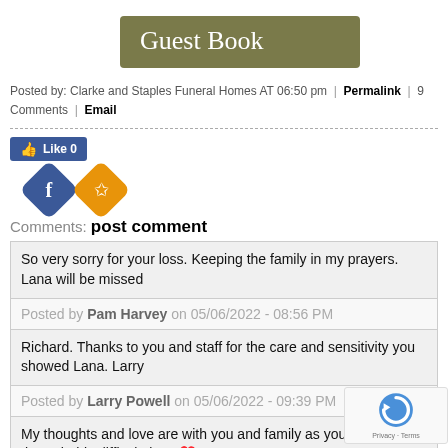Guest Book
Posted by: Clarke and Staples Funeral Homes AT 06:50 pm | Permalink | 9 Comments | Email
[Figure (other): Facebook Like button showing 0 likes]
[Figure (other): Social sharing icons: Facebook (blue diamond) and a star/bookmark (orange diamond)]
Comments: post comment
So very sorry for your loss. Keeping the family in my prayers. Lana will be missed
Posted by Pam Harvey on 05/06/2022 - 08:56 PM
Richard. Thanks to you and staff for the care and sensitivity you showed Lana. Larry
Posted by Larry Powell on 05/06/2022 - 09:39 PM
My thoughts and love are with you and family as you journey through this difficult time. &#9829;&#65039;
Posted by Susan McInturff on 05/06/2022 - 10:04 PM